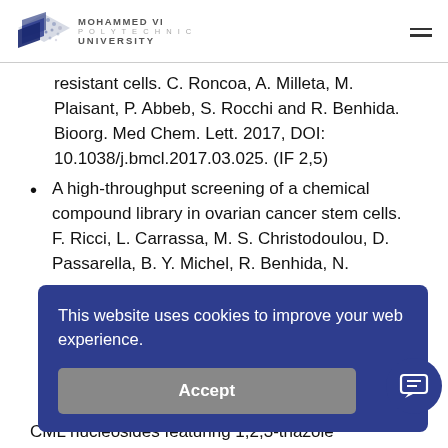MOHAMMED VI POLYTECHNIC UNIVERSITY
resistant cells. C. Roncoa, A. Milleta, M. Plaisant, P. Abbeb, S. Rocchi and R. Benhida. Bioorg. Med Chem. Lett. 2017, DOI: 10.1038/j.bmcl.2017.03.025. (IF 2,5)
A high-throughput screening of a chemical compound library in ovarian cancer stem cells. F. Ricci, L. Carrassa, M. S. Christodoulou, D. Passarella, B. Y. Michel, R. Benhida, N.
This website uses cookies to improve your web experience.
Accept
CML nucleosides featuring 1,2,3-triazole